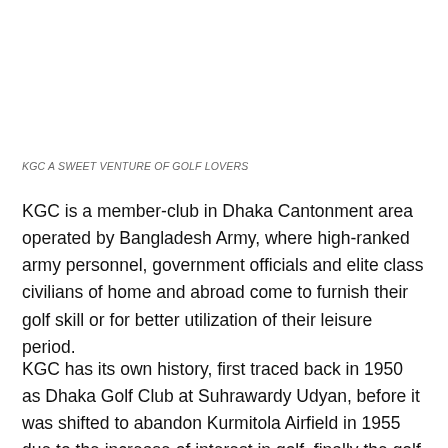KGC A SWEET VENTURE OF GOLF LOVERS
KGC is a member-club in Dhaka Cantonment area operated by Bangladesh Army, where high-ranked army personnel, government officials and elite class civilians of home and abroad come to furnish their golf skill or for better utilization of their leisure period.
KGC has its own history, first traced back in 1950 as Dhaka Golf Club at Suhrawardy Udyan, before it was shifted to abandon Kurmitola Airfield in 1955 due to the increase of interest in golf, finally the golf course shifted to its present